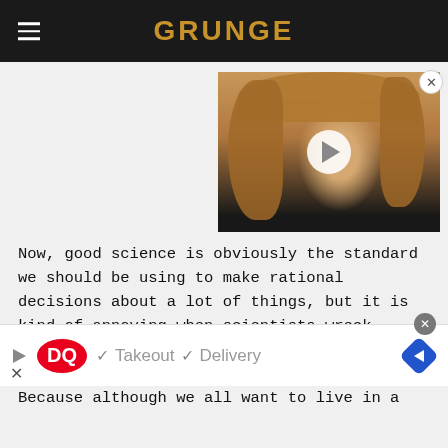GRUNGE
[Figure (photo): Video thumbnail showing a man with long blonde/brown hair and beard, with a play button overlay]
Now, good science is obviously the standard we should be using to make rational decisions about a lot of things, but it is kind of annoying when scientists wreck everyone's fun by saying ghosts don't exist and there's no such thing as psychics. Because although we all want to live in a
[Figure (other): Dairy Queen advertisement banner showing DQ logo with Takeout and Delivery options]